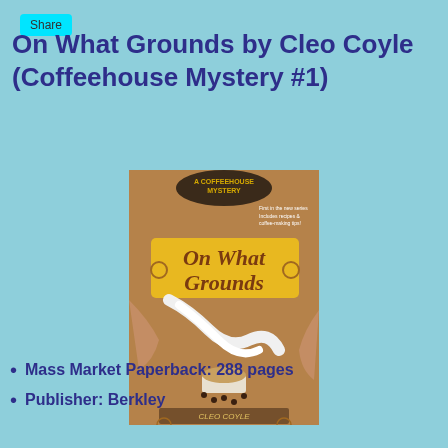Share
On What Grounds by Cleo Coyle (Coffeehouse Mystery #1)
[Figure (photo): Book cover of 'On What Grounds' by Cleo Coyle, Coffeehouse Mystery #1, published by Berkley. The cover shows a stylized illustration with coffee imagery.]
Mass Market Paperback: 288 pages
Publisher: Berkley